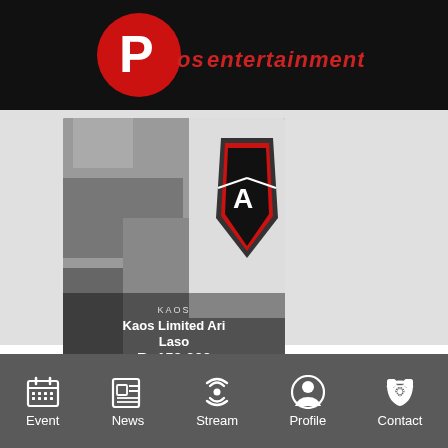[Figure (logo): Pos Entertainment logo — red circle with white P letter, text 'posentertainment' in red on black background]
[Figure (photo): Product card showing Kaos Limited Ari Laso — grayscale photo of a t-shirt with a red/black shield badge, overlaid text showing product name and price Rp150.000, with Quick View button]
[Figure (other): Dark navy/slate colored empty section below product area]
[Figure (infographic): Bottom navigation bar with icons and labels: Event (calendar icon), News (newspaper icon), Stream (radio waves icon), Profile (person icon), Contact (phone icon)]